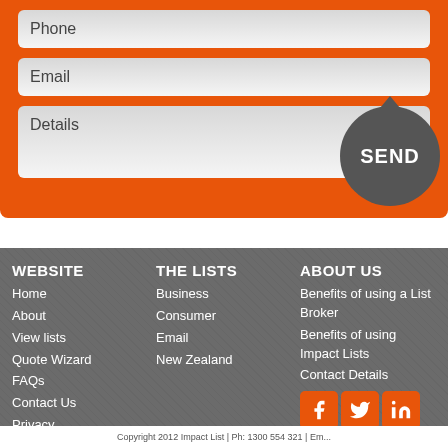[Figure (screenshot): Orange contact form with Phone, Email, and Details input fields and a gray circular SEND button]
WEBSITE
Home
About
View lists
Quote Wizard
FAQs
Contact Us
Privacy
THE LISTS
Business
Consumer
Email
New Zealand
ABOUT US
Benefits of using a List Broker
Benefits of using Impact Lists
Contact Details
Copyright 2012 Impact List | Ph: 1300 554 321 | Em...